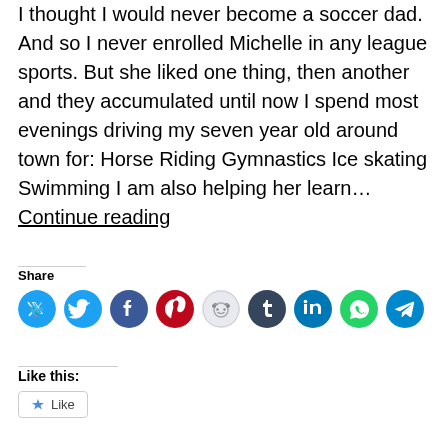I thought I would never become a soccer dad. And so I never enrolled Michelle in any league sports. But she liked one thing, then another and they accumulated until now I spend most evenings driving my seven year old around town for: Horse Riding Gymnastics Ice skating Swimming I am also helping her learn… Continue reading
Share
[Figure (infographic): Row of 8 social media share icon circles: Twitter (blue), Facebook (blue), Pinterest (red), Reddit (light blue/grey), Tumblr (dark navy), LinkedIn (blue), WhatsApp (green), Telegram (blue)]
Like this:
Like